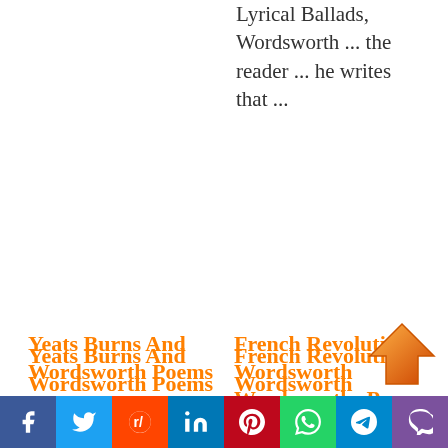Lyrical Ballads, Wordsworth ... the reader ... he writes that ...
Yeats Burns And Wordsworth Poems
... poems involve nature. Wordsworth changed the direction of English poetry ... reader and helped in his sons education. Burns
French Revolution Wordsworth Wordsworths Poem
... poetry and prose. Wordsworths Lyrical Ballads became the consummate expression of the authors vibrant and
[Figure (illustration): Orange upward-pointing arrow icon]
Facebook Twitter Reddit LinkedIn Pinterest WhatsApp Telegram Viber social share buttons